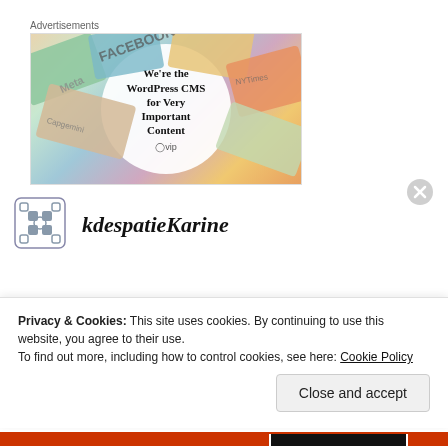Advertisements
[Figure (illustration): WordPress VIP advertisement showing colorful branded cards/paper in background with a white circle overlay containing text: We're the WordPress CMS for Very Important Content, with WordPress VIP logo]
kdespatieKarine
Privacy & Cookies: This site uses cookies. By continuing to use this website, you agree to their use.
To find out more, including how to control cookies, see here: Cookie Policy
Close and accept